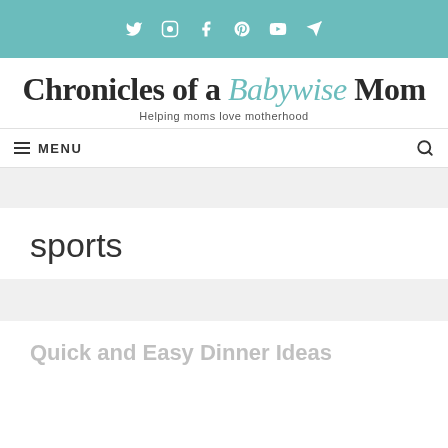Social media icons bar: Twitter, Instagram, Facebook, Pinterest, YouTube, Telegram
Chronicles of a Babywise Mom
Helping moms love motherhood
MENU
sports
Quick and Easy Dinner Ideas